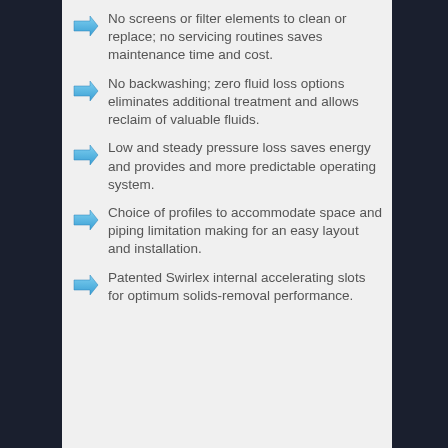No screens or filter elements to clean or replace; no servicing routines saves maintenance time and cost.
No backwashing; zero fluid loss options eliminates additional treatment and allows reclaim of valuable fluids.
Low and steady pressure loss saves energy and provides and more predictable operating system.
Choice of profiles to accommodate space and piping limitation making for an easy layout and installation.
Patented Swirlex internal accelerating slots for optimum solids-removal performance.